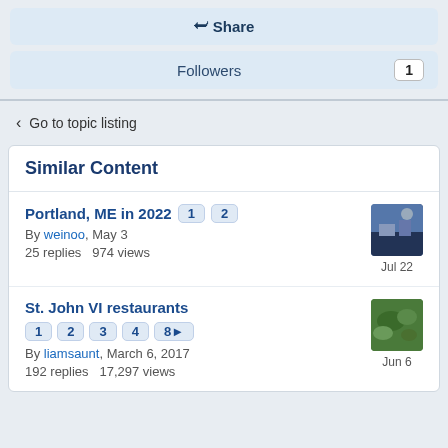Share
Followers  1
< Go to topic listing
Similar Content
Portland, ME in 2022  1  2
By weinoo, May 3
25 replies  974 views
Jul 22
St. John VI restaurants  1  2  3  4  8▶
By liamsaunt, March 6, 2017
192 replies  17,297 views
Jun 6